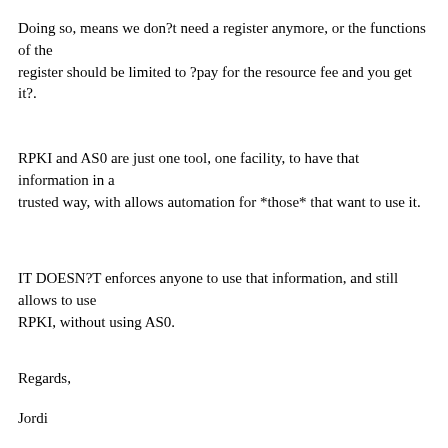Doing so, means we don?t need a register anymore, or the functions of the register should be limited to ?pay for the resource fee and you get it?.
RPKI and AS0 are just one tool, one facility, to have that information in a trusted way, with allows automation for *those* that want to use it.
IT DOESN?T enforces anyone to use that information, and still allows to use RPKI, without using AS0.
Regards,
Jordi